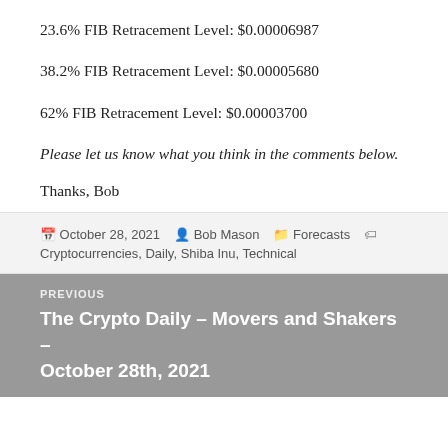23.6% FIB Retracement Level: $0.00006987
38.2% FIB Retracement Level: $0.00005680
62% FIB Retracement Level: $0.00003700
Please let us know what you think in the comments below.
Thanks, Bob
Posted on October 28, 2021  Author Bob Mason  Categories Forecasts  Tags Cryptocurrencies, Daily, Shiba Inu, Technical
PREVIOUS
The Crypto Daily – Movers and Shakers – October 28th, 2021